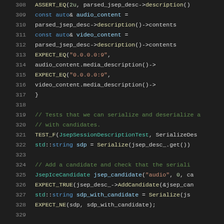[Figure (screenshot): Source code screenshot showing C++ test code with syntax highlighting, lines 308-329, dark background IDE theme]